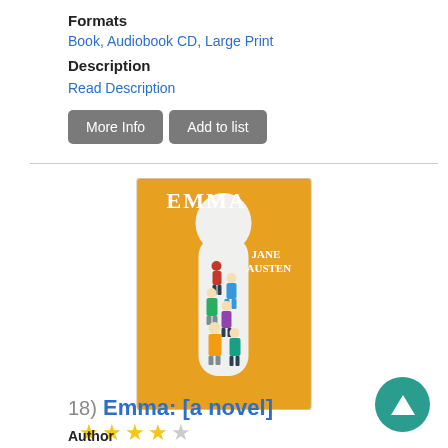Formats
Book, Audiobook CD, Large Print
Description
Read Description
More Info | Add to list
[Figure (photo): Book cover of 'Emma: [a novel]' by Jane Austen. Yellow background with illustration of many figures in period dress arranged in a flowing silhouette shape. Title 'EMMA' at top and author name 'JANE AUSTEN' on the right.]
4 out of 5 stars rating
18) Emma: [a novel]
Author